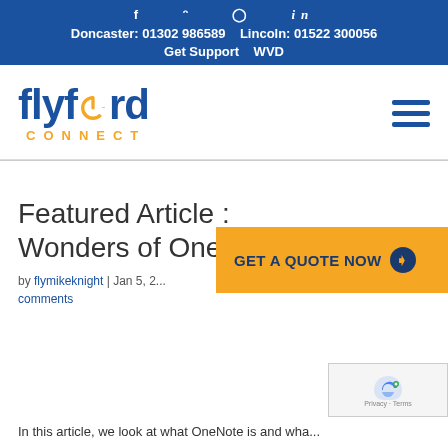f  twitter  instagram  in | Doncaster: 01302 986589  Lincoln: 01522 300056 | Get Support  WVD
[Figure (logo): Flyford Connect logo with blue text and orange power button icon, and hamburger menu icon]
Featured Article : Wonders of OneNote
by flymikeknight | Jan 5, 2... comments
[Figure (other): GET A QUOTE NOW orange CTA button with arrow]
[Figure (other): reCAPTCHA Privacy - Terms widget]
In this article, we look at what OneNote is and wha...